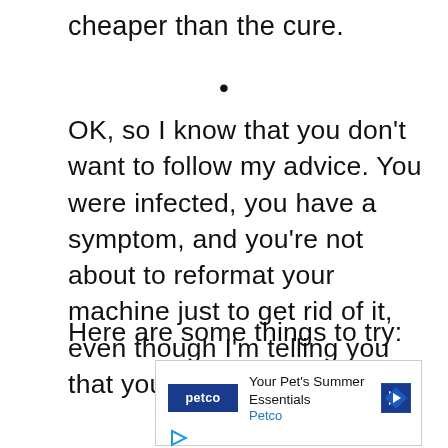cheaper than the cure.
•
OK, so I know that you don't want to follow my advice. You were infected, you have a symptom, and you're not about to reformat your machine just to get rid of it, even though I'm telling you that you should.
Here are some things to try:
[Figure (other): Advertisement banner for Petco: 'Your Pet's Summer Essentials' with Petco logo and navigation arrow icon]